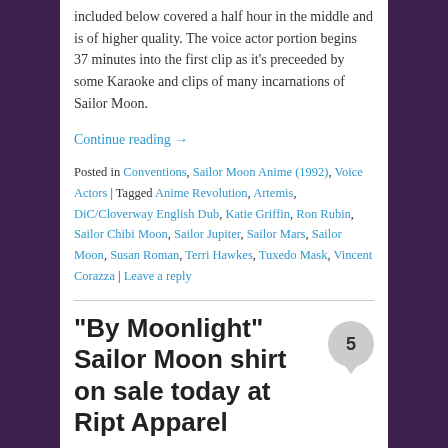included below covered a half hour in the middle and is of higher quality. The voice actor portion begins 37 minutes into the first clip as it's preceeded by some Karaoke and clips of many incarnations of Sailor Moon.
Continue reading →
Posted in Conventions, Sailor Moon Anime (1992), Voice Actors | Tagged Anime Revolution, Artemis, DiC/Cloverway English Dub, Katie Griffin, Ron Rubin, Sailor Chibi Moon, Sailor Jupiter, Sailor Mars, Sailor Moon, Susan Roman, Terri Hawkes, Tuxedo Mask, Vincent Corazza | Leave a reply
"By Moonlight" Sailor Moon shirt on sale today at Ript Apparel
Posted on September 15, 2012